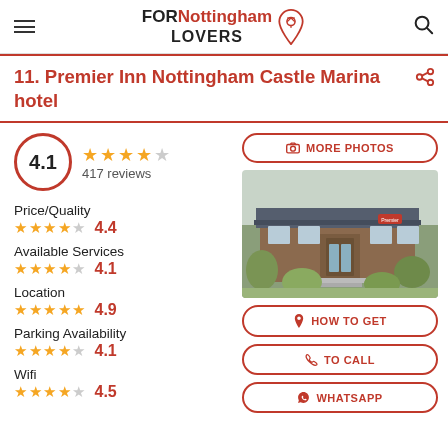FORNottingham LOVERS
11. Premier Inn Nottingham Castle Marina hotel
4.1 — 417 reviews
Price/Quality 4.4
Available Services 4.1
Location 4.9
Parking Availability 4.1
Wifi 4.5
[Figure (photo): Exterior photo of Premier Inn Nottingham Castle Marina hotel, a brick building with signage, surrounded by greenery]
MORE PHOTOS
HOW TO GET
TO CALL
WHATSAPP